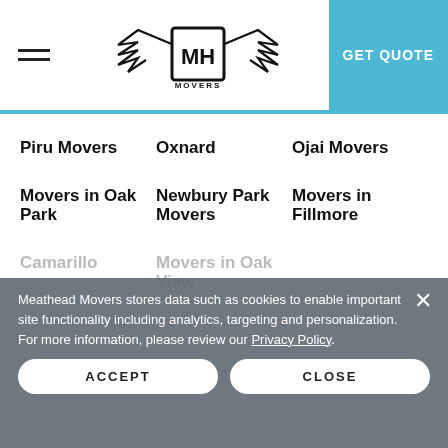MH Movers logo, hamburger menu, GET QUOTE button
Piru Movers
Oxnard
Ojai Movers
Movers in Oak Park
Newbury Park Movers
Movers in Fillmore
Camarillo
Movers in Oak View
Meathead Movers stores data such as cookies to enable important site functionality including analytics, targeting and personalization. For more information, please review our Privacy Policy.
ACCEPT
CLOSE